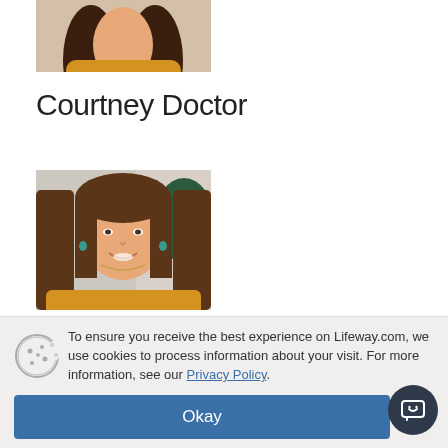[Figure (photo): Partial photo of a woman at the top of the page, cropped showing only the top portion with dark hair and yellow clothing visible]
Courtney Doctor
[Figure (photo): Photo of Courtney Doctor, a woman with long brown hair, smiling, wearing a yellow top, with green decor in the background]
To ensure you receive the best experience on Lifeway.com, we use cookies to process information about your visit. For more information, see our Privacy Policy.
Okay